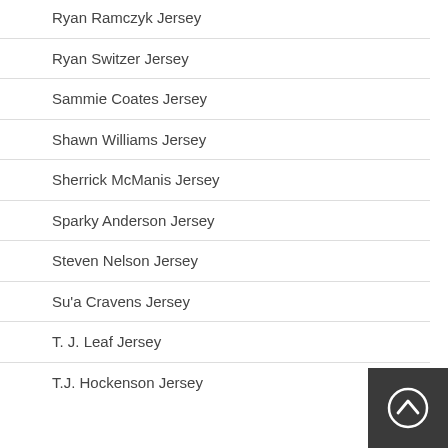Ryan Ramczyk Jersey
Ryan Switzer Jersey
Sammie Coates Jersey
Shawn Williams Jersey
Sherrick McManis Jersey
Sparky Anderson Jersey
Steven Nelson Jersey
Su'a Cravens Jersey
T. J. Leaf Jersey
T.J. Hockenson Jersey